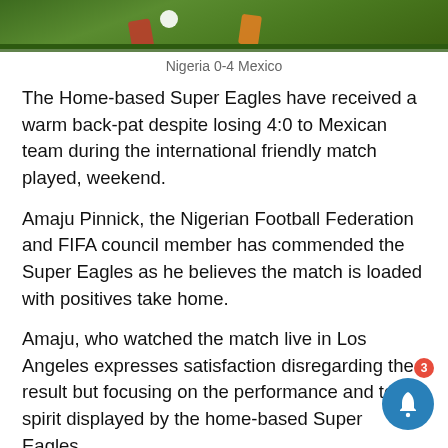[Figure (photo): Soccer/football match photo showing players on a green field with a ball, partially cropped at top]
Nigeria 0-4 Mexico
The Home-based Super Eagles have received a warm back-pat despite losing 4:0 to Mexican team during the international friendly match played, weekend.
Amaju Pinnick, the Nigerian Football Federation and FIFA council member has commended the Super Eagles as he believes the match is loaded with positives take home.
Amaju, who watched the match live in Los Angeles expresses satisfaction disregarding the result but focusing on the performance and team spirit displayed by the home-based Super Eagles.
“I am not disappointed at all with the result, rather I more impressed by the dexterity of the boys, their